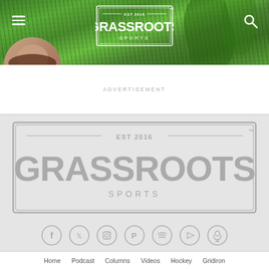[Figure (screenshot): Grassroots Sports website header with green grass background, hamburger menu, search icon, and Grassroots Sports logo in white]
[Figure (photo): Circular profile photo of a woman with brown hair]
ADVERTISEMENT
[Figure (logo): Grassroots Sports EST 2016 logo in gray on light gray background]
[Figure (infographic): Social media icons: Facebook, Twitter, Instagram, Patreon, Spotify, YouTube, Podcast]
Home   Podcast   Columns   Videos   Hockey   Gridiron